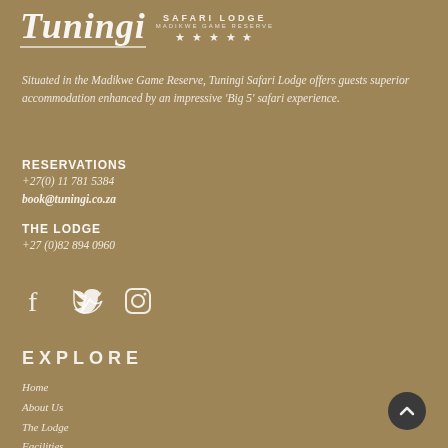[Figure (logo): Tuningi Safari Lodge logo with italic script text, SAFARI LODGE text, MADIKWE GAME RESERVE subtitle, and five stars]
Situated in the Madikwe Game Reserve, Tuningi Safari Lodge offers guests superior accommodation enhanced by an impressive 'Big 5' safari experience.
RESERVATIONS
+27(0) 11 781 5384
book@tuningi.co.za
THE LODGE
+27 (0)82 894 0960
[Figure (illustration): Social media icons: Facebook, Twitter, Instagram]
EXPLORE
Home
About Us
The Lodge
Facilities